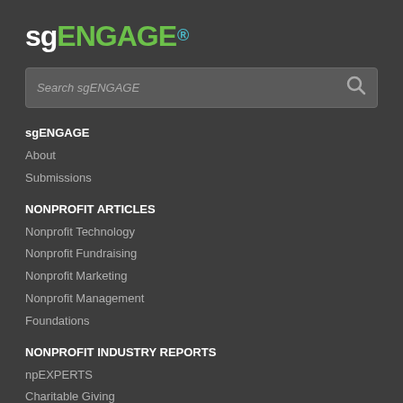sgENGAGE
[Figure (screenshot): Search box with placeholder text 'Search sgENGAGE' and a search icon on the right]
sgENGAGE
About
Submissions
NONPROFIT ARTICLES
Nonprofit Technology
Nonprofit Fundraising
Nonprofit Marketing
Nonprofit Management
Foundations
NONPROFIT INDUSTRY REPORTS
npEXPERTS
Charitable Giving
NONPROFIT WEBINARS